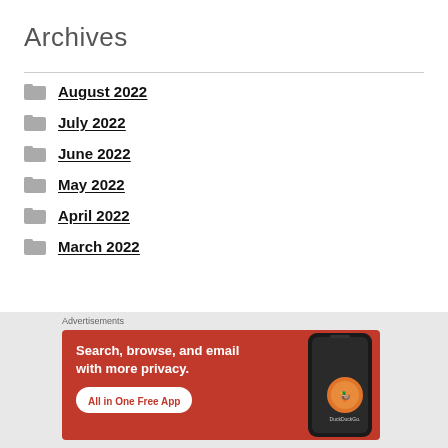Archives
August 2022
July 2022
June 2022
May 2022
April 2022
March 2022
[Figure (screenshot): DuckDuckGo advertisement banner showing 'Search, browse, and email with more privacy. All in One Free App' with a phone graphic and DuckDuckGo logo]
Advertisements